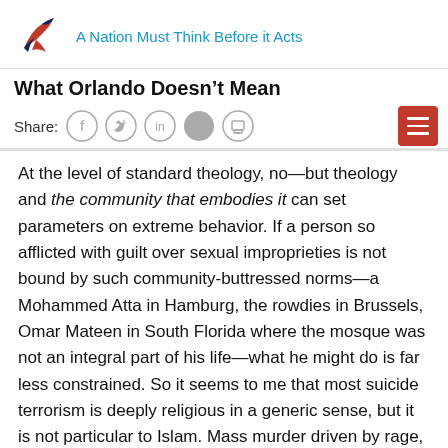A Nation Must Think Before it Acts
What Orlando Doesn't Mean
Share:
At the level of standard theology, no—but theology and the community that embodies it can set parameters on extreme behavior. If a person so afflicted with guilt over sexual improprieties is not bound by such community-buttressed norms—a Mohammed Atta in Hamburg, the rowdies in Brussels, Omar Mateen in South Florida where the mosque was not an integral part of his life—what he might do is far less constrained. So it seems to me that most suicide terrorism is deeply religious in a generic sense, but it is not particular to Islam. Mass murder driven by rage, guilt, or a collapse of self-worth, sometimes suicidal and sometimes not, has happened in many places—Tasmania, Norway, Columbine, Sandy Hook—where the mass murderers were not Muslims. It can exist amid any way of thinking in which